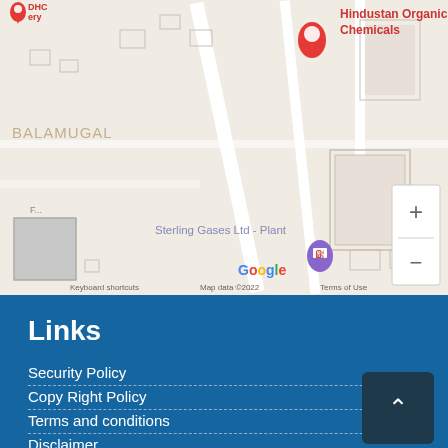[Figure (map): Google Maps screenshot showing location of Hindustan Organic Chemicals and Sterling Gases Ltd Plant near Balamugal area. Map includes zoom controls, Google logo, keyboard shortcuts, map data copyright 2022, and terms of use.]
Links
Security Policy
Copy Right Policy
Terms and conditions
Disclaimer